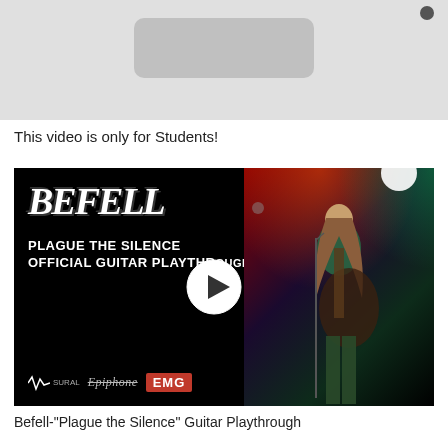[Figure (screenshot): Video player placeholder with gray background and rounded rectangle control bar]
This video is only for Students!
[Figure (screenshot): Thumbnail for Befell Plague the Silence guitar playthrough video. Left half shows black background with band logo 'Befell', text 'PLAGUE THE SILENCE OFFICIAL GUITAR PLAYTHROUGH', sponsor logos (Sural, Epiphone, EMG), and a play button. Right half shows concert photo of guitarist performing on stage with red and green spotlights.]
Befell-"Plague the Silence" Guitar Playthrough